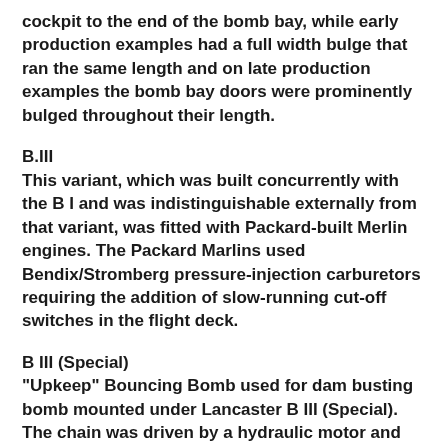cockpit to the end of the bomb bay, while early production examples had a full width bulge that ran the same length and on late production examples the bomb bay doors were prominently bulged throughout their length.
B.III
This variant, which was built concurrently with the B I and was indistinguishable externally from that variant, was fitted with Packard-built Merlin engines. The Packard Marlins used Bendix/Stromberg pressure-injection carburetors requiring the addition of slow-running cut-off switches in the flight deck.
B III (Special)
"Upkeep" Bouncing Bomb used for dam busting bomb mounted under Lancaster B III (Special). The chain was driven by a hydraulic motor and gave the bomb its Backspin.
Known at the time of modification as the "Type 464 Provisioning"] Lancaster, 23 aircraft of this type were built to carry the "Upkeep" Bouncing Bomb for the dam